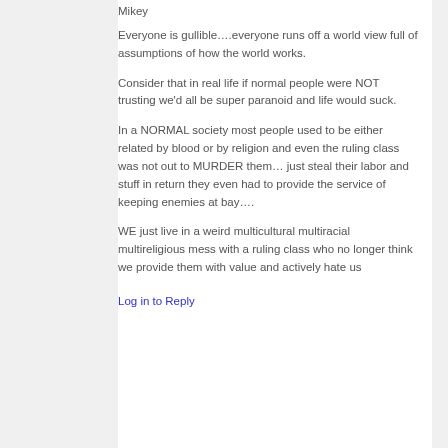Mikey
Everyone is gullible….everyone runs off a world view full of assumptions of how the world works.
Consider that in real life if normal people were NOT trusting we'd all be super paranoid and life would suck.
In a NORMAL society most people used to be either related by blood or by religion and even the ruling class was not out to MURDER them… just steal their labor and stuff in return they even had to provide the service of keeping enemies at bay….
WE just live in a weird multicultural multiracial multireligious mess with a ruling class who no longer think we provide them with value and actively hate us
Log in to Reply